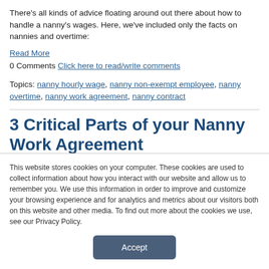There's all kinds of advice floating around out there about how to handle a nanny's wages. Here, we've included only the facts on nannies and overtime:
Read More
0 Comments Click here to read/write comments
Topics: nanny hourly wage, nanny non-exempt employee, nanny overtime, nanny work agreement, nanny contract
3 Critical Parts of your Nanny Work Agreement
This website stores cookies on your computer. These cookies are used to collect information about how you interact with our website and allow us to remember you. We use this information in order to improve and customize your browsing experience and for analytics and metrics about our visitors both on this website and other media. To find out more about the cookies we use, see our Privacy Policy.
Accept